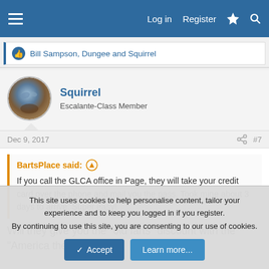Log in   Register
Bill Sampson, Dungee and Squirrel
Squirrel
Escalante-Class Member
Dec 9, 2017   #7
BartsPlace said: ↑
If you call the GLCA office in Page, they will take your credit card over the phone and mail you the pass. Took mine about 3 days to arrive. Super easy!
Will they give you the "old farts" discount with the "America the
This site uses cookies to help personalise content, tailor your experience and to keep you logged in if you register.
By continuing to use this site, you are consenting to our use of cookies.
Accept   Learn more...